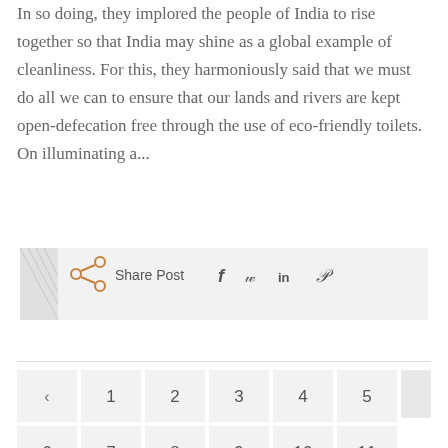In so doing, they implored the people of India to rise together so that India may shine as a global example of cleanliness. For this, they harmoniously said that we must do all we can to ensure that our lands and rivers are kept open-defecation free through the use of eco-friendly toilets. On illuminating a...
[Figure (infographic): Share Post bar with share icon, label 'Share Post', and social media icons for Facebook, Twitter, LinkedIn, and Pinterest]
[Figure (infographic): Pagination navigation with back arrow, page numbers 1-11, and scroll-to-top button with up arrow]